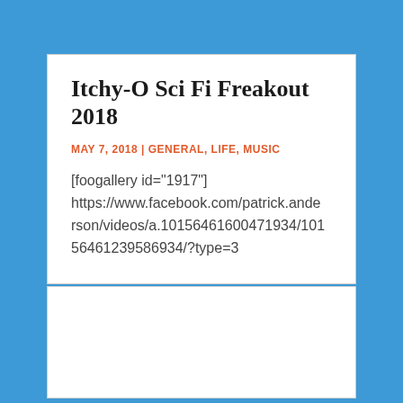Itchy-O Sci Fi Freakout 2018
MAY 7, 2018 | GENERAL, LIFE, MUSIC
[foogallery id="1917"] https://www.facebook.com/patrick.anderson/videos/a.10156461600471934/10156461239586934/?type=3